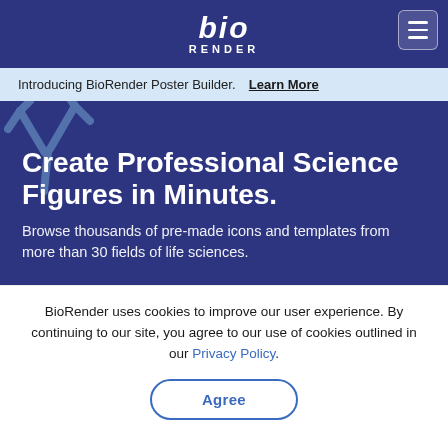BioRender
Introducing BioRender Poster Builder. Learn More
[Figure (illustration): BioRender hero section with antibody/molecule icon decoration in dark navy blue background, showing the tagline 'Create Professional Science Figures in Minutes.' with subtitle 'Browse thousands of pre-made icons and templates from more than 30 fields of life sciences.']
Create Professional Science Figures in Minutes.
Browse thousands of pre-made icons and templates from more than 30 fields of life sciences.
BioRender uses cookies to improve our user experience. By continuing to our site, you agree to our use of cookies outlined in our Privacy Policy.
Agree